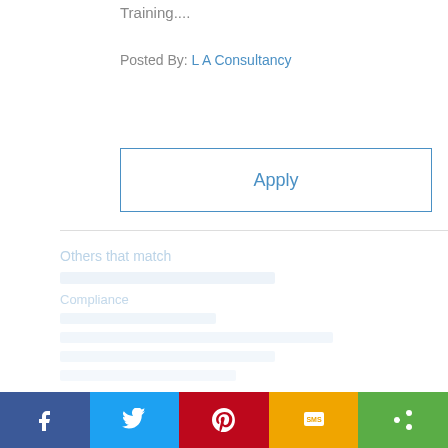Training....
Posted By: L A Consultancy
Apply
[Figure (screenshot): Ghosted/blurred content area showing placeholder text lines and faded blue link text below the Apply button and divider]
[Figure (infographic): Social share bar at bottom with Facebook (blue), Twitter (light blue), Pinterest (red), SMS (amber/yellow), Share (green) buttons with white icons]